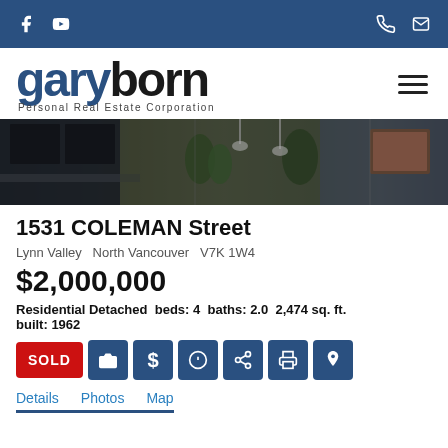Gary Born Personal Real Estate Corporation - Navigation bar with social icons and contact
[Figure (logo): Gary Born Personal Real Estate Corporation logo with hamburger menu]
[Figure (photo): Interior kitchen/living room photo of listed property]
1531 COLEMAN Street
Lynn Valley  North Vancouver  V7K 1W4
$2,000,000
Residential Detached  beds: 4  baths: 2.0  2,474 sq. ft.  built: 1962
SOLD
Details  Photos  Map